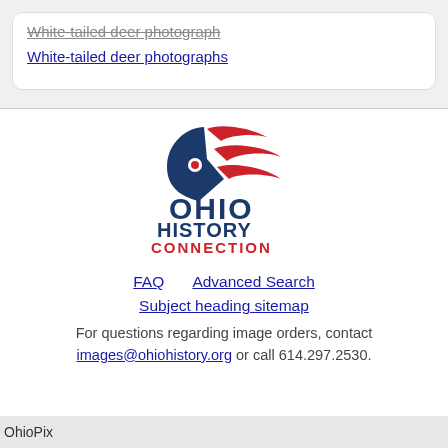White-tailed deer photograph
White-tailed deer photographs
[Figure (logo): Ohio History Connection logo — stylized Ohio cardinal/flag icon in navy blue and red above bold text 'OHIO HISTORY CONNECTION' with CONNECTION in red]
FAQ   Advanced Search
Subject heading sitemap
For questions regarding image orders, contact images@ohiohistory.org or call 614.297.2530.
OhioPix